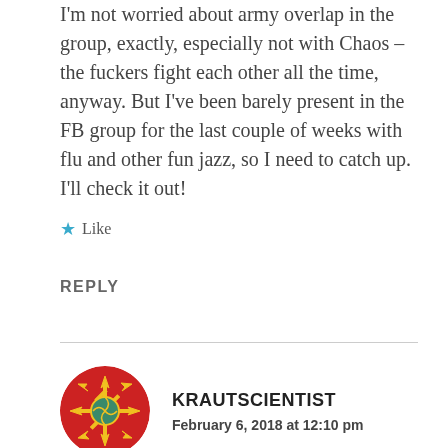I'm not worried about army overlap in the group, exactly, especially not with Chaos – the fuckers fight each other all the time, anyway. But I've been barely present in the FB group for the last couple of weeks with flu and other fun jazz, so I need to catch up. I'll check it out!
★ Like
REPLY
KRAUTSCIENTIST
February 6, 2018 at 12:10 pm
So, it would seem that, both regarding your medical issue and in your hobby life, it ultimately comes